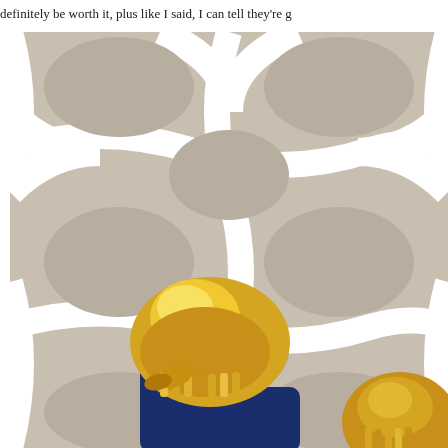definitely be worth it, plus like I said, I can tell they're g
[Figure (photo): Overhead view of a baby's feet wearing shiny gold metallic moccasin shoes with fringe detail, dressed in dark blue denim, standing on a grey and white geometric quatrefoil patterned rug.]